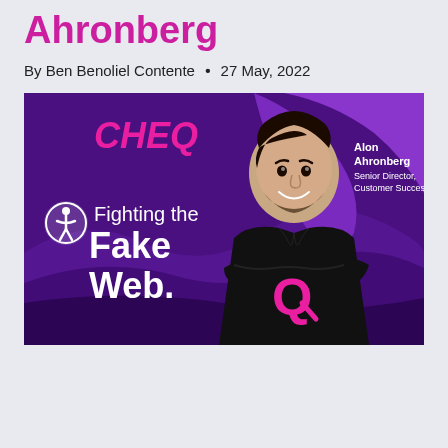Ahronberg
By Ben Benoliel Contente • 27 May, 2022
[Figure (photo): CHEQ promotional banner featuring a man in a black hoodie with a pink Q logo, standing against a purple wavy background. Text reads: CHEQ, Fighting the Fake Web. Person identified as Alon Ahronberg, Senior Director, Customer Success. Accessibility icon visible on left side.]